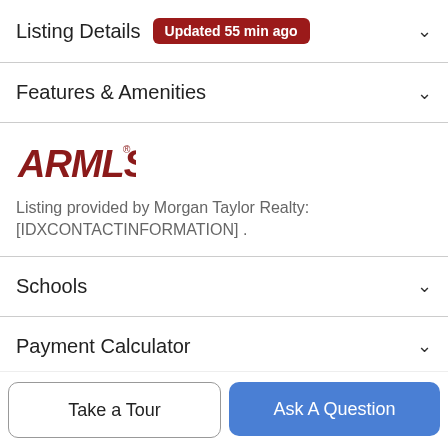Listing Details Updated 55 min ago
Features & Amenities
[Figure (logo): ARMLS logo in dark red stylized text]
Listing provided by Morgan Taylor Realty: [IDXCONTACTINFORMATION] .
Schools
Payment Calculator
Contact Agent
Take a Tour
Ask A Question